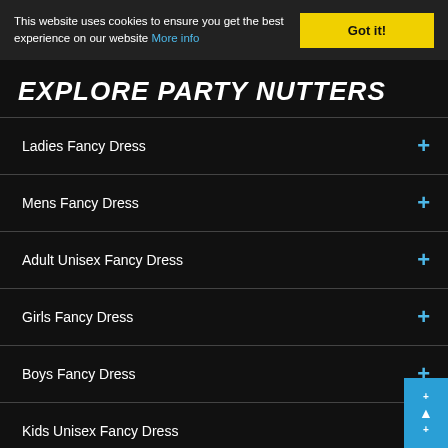This website uses cookies to ensure you get the best experience on our website More info
EXPLORE PARTY NUTTERS
Ladies Fancy Dress
Mens Fancy Dress
Adult Unisex Fancy Dress
Girls Fancy Dress
Boys Fancy Dress
Kids Unisex Fancy Dress
Babies/Toddlers
Hats
Themed Accessories
General Accessories
Jokes & Creepy Creatures